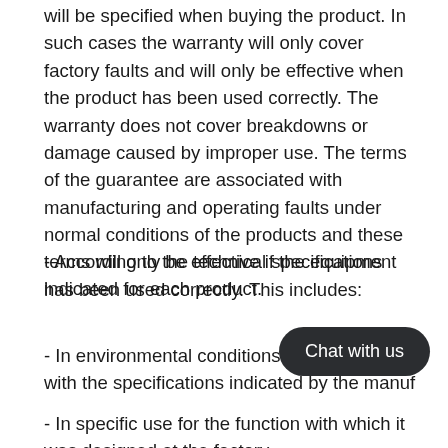will be specified when buying the product. In such cases the warranty will only cover factory faults and will only be effective when the product has been used correctly. The warranty does not cover breakdowns or damage caused by improper use. The terms of the guarantee are associated with manufacturing and operating faults under normal conditions of the products and these terms will only be effective if the equipment has been used correctly. This includes:
- According to the technical specifications indicated for each product.
- In environmental conditions in accordance with the specifications indicated by the manuf...
- In specific use for the function with which it was designed at the factory.